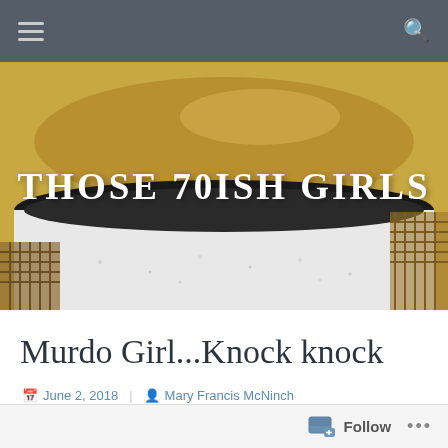Navigation bar with menu and search icons
[Figure (photo): Close-up photo of a white enamel mug with coffee or tea, viewed from above at an angle, showing the golden-brown liquid inside and the black rim. Background shows a woven surface.]
THOSE 70ISH GIRLS
Murdo Girl...Knock knock
June 2, 2018   Mary Francis McNinch
You never know who you’re going to run into.
Follow